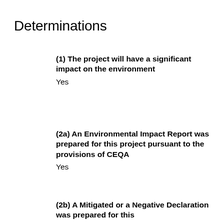Determinations
(1) The project will have a significant impact on the environment
Yes
(2a) An Environmental Impact Report was prepared for this project pursuant to the provisions of CEQA
Yes
(2b) A Mitigated or a Negative Declaration was prepared for this